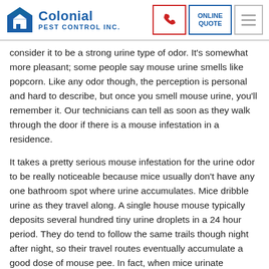Colonial Pest Control Inc.
consider it to be a strong urine type of odor. It's somewhat more pleasant; some people say mouse urine smells like popcorn. Like any odor though, the perception is personal and hard to describe, but once you smell mouse urine, you'll remember it. Our technicians can tell as soon as they walk through the door if there is a mouse infestation in a residence.
It takes a pretty serious mouse infestation for the urine odor to be really noticeable because mice usually don't have any one bathroom spot where urine accumulates. Mice dribble urine as they travel along. A single house mouse typically deposits several hundred tiny urine droplets in a 24 hour period. They do tend to follow the same trails though night after night, so their travel routes eventually accumulate a good dose of mouse pee. In fact, when mice urinate frequently in the same spot, "urine